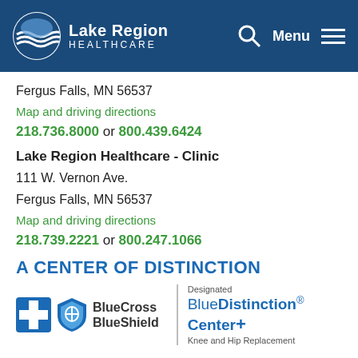[Figure (logo): Lake Region Healthcare logo and navigation header with search and menu icons on dark blue background]
Fergus Falls, MN 56537
Map and driving directions
218.736.8000 or 800.439.6424
Lake Region Healthcare - Clinic
111 W. Vernon Ave.
Fergus Falls, MN 56537
Map and driving directions
218.739.2221 or 800.247.1066
A CENTER OF DISTINCTION
[Figure (logo): BlueCross BlueShield logo with Designated BlueDistinction Center+ Knee and Hip Replacement text]